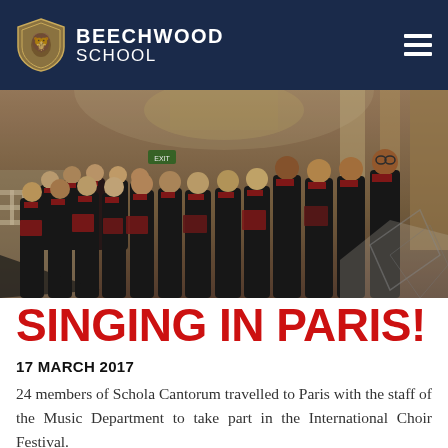Beechwood School
[Figure (photo): A choir of approximately 24 students dressed in black with red sashes/scarves, standing in rows inside an ornate classical building, holding sheet music and singing.]
SINGING IN PARIS!
17 MARCH 2017
24 members of Schola Cantorum travelled to Paris with the staff of the Music Department to take part in the International Choir Festival.